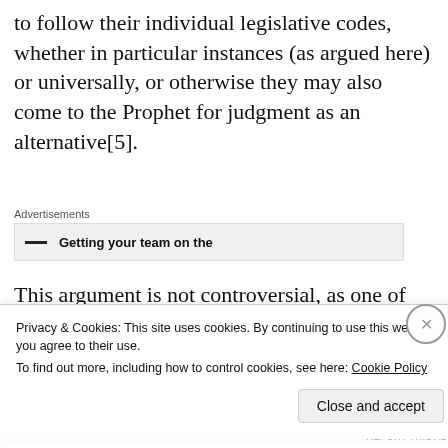to follow their individual legislative codes, whether in particular instances (as argued here) or universally, or otherwise they may also come to the Prophet for judgment as an alternative[5].
[Figure (screenshot): Advertisements banner showing partially visible ad text: Getting your team on the]
This argument is not controversial, as one of the critiques of the Qur'ān towards the Jews is that they are not even living by their books
Privacy & Cookies: This site uses cookies. By continuing to use this website, you agree to their use.
To find out more, including how to control cookies, see here: Cookie Policy
Close and accept